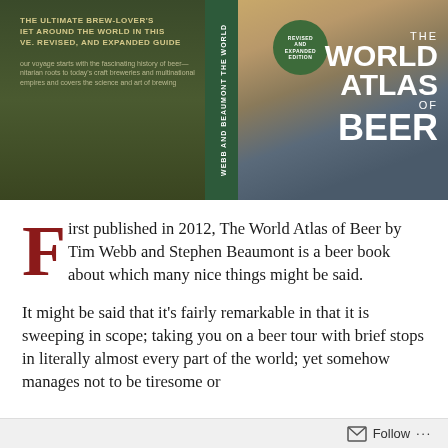[Figure (photo): A person holding open 'The World Atlas of Beer' (Revised and Expanded Edition) by Webb and Beaumont. The book cover is visible showing the title in large white letters on a green/brown background with beer glasses. The book spine reads 'THE WORLD' and 'WEBB and BEAUMONT'. The left side of the cover shows tagline text about a brew-lover's journey.]
First published in 2012, The World Atlas of Beer by Tim Webb and Stephen Beaumont is a beer book about which many nice things might be said.
It might be said that it's fairly remarkable in that it is sweeping in scope; taking you on a beer tour with brief stops in literally almost every part of the world; yet somehow manages not to be tiresome or